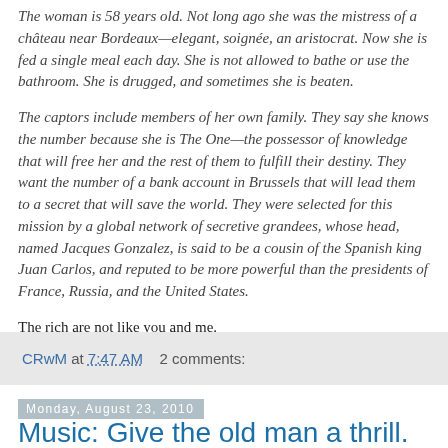The woman is 58 years old. Not long ago she was the mistress of a château near Bordeaux—elegant, soignée, an aristocrat. Now she is fed a single meal each day. She is not allowed to bathe or use the bathroom. She is drugged, and sometimes she is beaten.
The captors include members of her own family. They say she knows the number because she is The One—the possessor of knowledge that will free her and the rest of them to fulfill their destiny. They want the number of a bank account in Brussels that will lead them to a secret that will save the world. They were selected for this mission by a global network of secretive grandees, whose head, named Jacques Gonzalez, is said to be a cousin of the Spanish king Juan Carlos, and reputed to be more powerful than the presidents of France, Russia, and the United States.
The rich are not like you and me.
CRwM at 7:47 AM   2 comments:
Monday, August 23, 2010
Music: Give the old man a thrill.